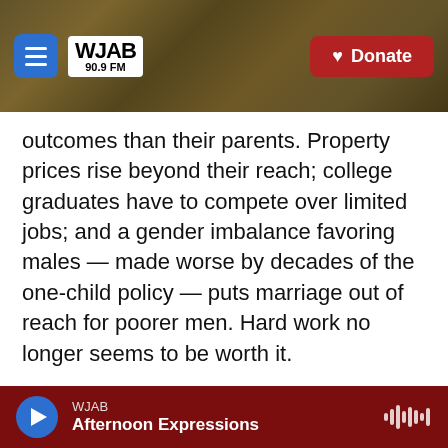[Figure (screenshot): WJAB 90.9 FM radio station navigation bar with hamburger menu button, logo, and red Donate button, overlaid on golden/brass textured background]
outcomes than their parents. Property prices rise beyond their reach; college graduates have to compete over limited jobs; and a gender imbalance favoring males — made worse by decades of the one-child policy — puts marriage out of reach for poorer men. Hard work no longer seems to be worth it.

The soul-crushing weariness these conditions produce can be embodied in the single Chinese character, Sang. And once I learned about Sang, it became impossible not to see it popping up everywhere in mainstream Chinese culture, and
[Figure (screenshot): WJAB radio audio player bar with blue play button circle, WJAB station name, Afternoon Expressions show title, and waveform icon, on dark red background]